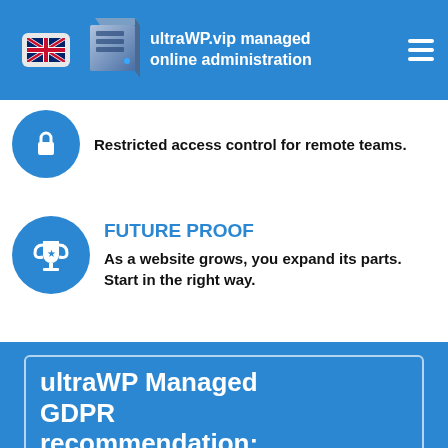ultraWP.vip managed online administration
Restricted access control for remote teams.
FUTURE PROOF
As a website grows, you expand its parts. Start in the right way.
ultraWP Managed GDPR recommendation: